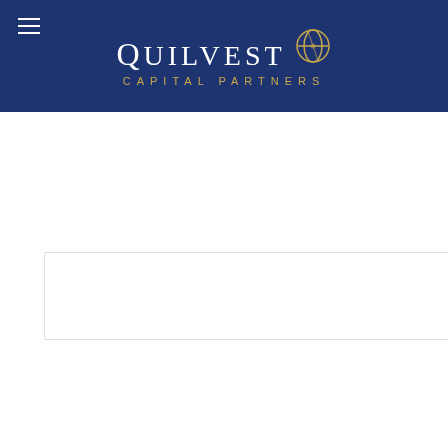Quilvest Capital Partners
[Figure (logo): Quilvest Capital Partners logo on dark navy blue background, with hamburger menu icon in top left. The logo features the word QUILVEST in white serif capitals with a gold compass/globe icon, and CAPITAL PARTNERS in gold spaced capitals below.]